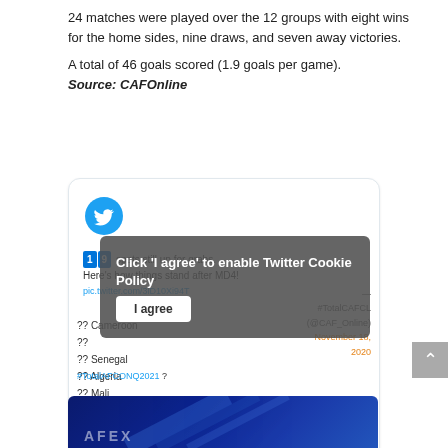24 matches were played over the 12 groups with eight wins for the home sides, nine draws, and seven away victories.
A total of 46 goals scored (1.9 goals per game).
Source: CAFOnline
[Figure (screenshot): Embedded Twitter/X social media card showing a tweet about AFCON Q2021 standings with 19 spots still up for grabs, partially overlaid by a cookie consent dialog reading 'Click I agree to enable Twitter Cookie Policy' with an 'I agree' button. The tweet mentions #TotalCAFCL (@CAF_Online) dated November 18, 2020, and lists countries: Cameroon, Senegal, Algeria, Mali, Tunisia.]
[Figure (screenshot): Bottom portion of a dark blue banner with white text reading 'AFEX' partially visible at the bottom of the page.]